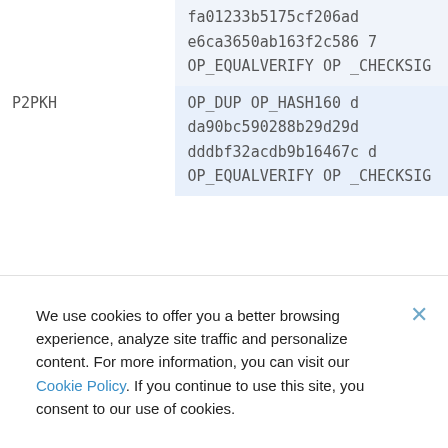| Type | Script |
| --- | --- |
|  | fa01233b5175cf206ad e6ca3650ab163f2c586 7 OP_EQUALVERIFY OP _CHECKSIG |
| P2PKH | OP_DUP OP_HASH160 d da90bc590288b29d29d dddbf32acdb9b16467c d OP_EQUALVERIFY OP _CHECKSIG |
We use cookies to offer you a better browsing experience, analyze site traffic and personalize content. For more information, you can visit our Cookie Policy. If you continue to use this site, you consent to our use of cookies.